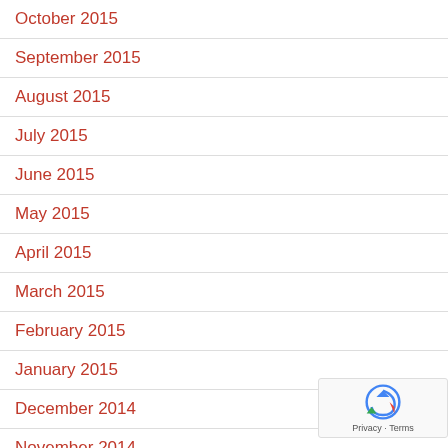October 2015
September 2015
August 2015
July 2015
June 2015
May 2015
April 2015
March 2015
February 2015
January 2015
December 2014
November 2014
October 2014
[Figure (logo): reCAPTCHA badge with Privacy and Terms links]